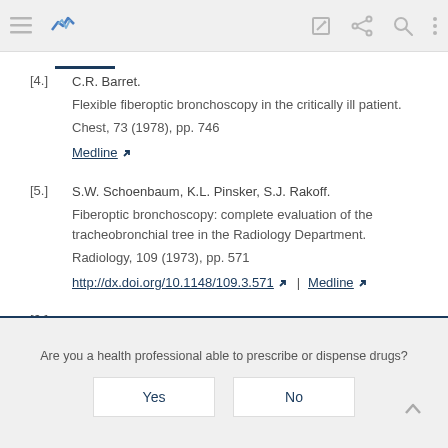Toolbar with navigation icons
[4.] C.R. Barret. Flexible fiberoptic bronchoscopy in the critically ill patient. Chest, 73 (1978), pp. 746 | Medline
[5.] S.W. Schoenbaum, K.L. Pinsker, S.J. Rakoff. Fiberoptic bronchoscopy: complete evaluation of the tracheobronchial tree in the Radiology Department. Radiology, 109 (1973), pp. 571 | http://dx.doi.org/10.1148/109.3.571 | Medline
[6.] D. Zavala.
Are you a health professional able to prescribe or dispense drugs? Yes No